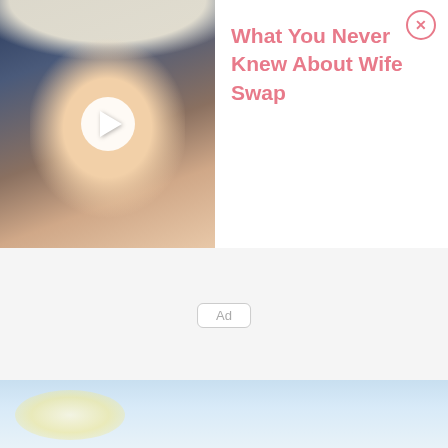[Figure (screenshot): Advertisement overlay showing a blonde woman's face with a video play button on the left thumbnail, and pink text reading 'What You Never Knew About Wife Swap' on the right panel with a close (X) button in the top right corner.]
Ad
[Figure (photo): Bottom portion showing a blurred outdoor scene with light blue sky and soft warm light glow, appearing to be a landscape or sky photograph.]